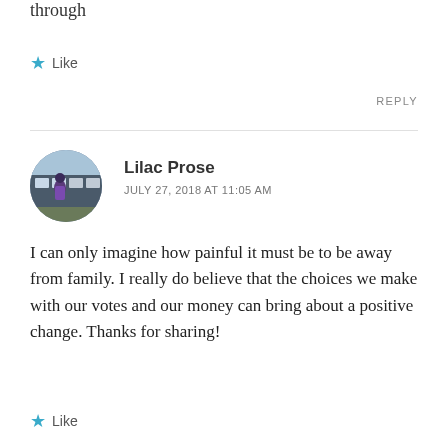through
★ Like
REPLY
Lilac Prose
JULY 27, 2018 AT 11:05 AM
I can only imagine how painful it must be to be away from family. I really do believe that the choices we make with our votes and our money can bring about a positive change. Thanks for sharing!
★ Like